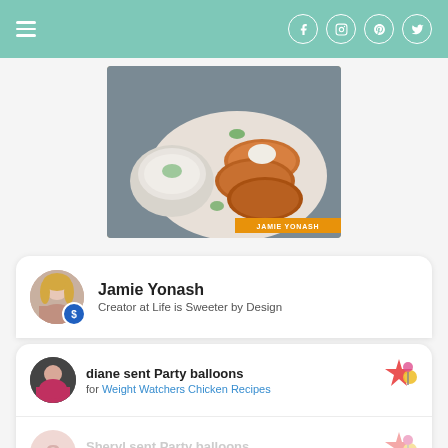Navigation header with hamburger menu and social icons (Facebook, Instagram, Pinterest, Twitter)
[Figure (photo): Food photo showing golden crab/corn cakes on a white plate with a bowl of dip garnished with dill. Label reading JAMIE YONASH in orange banner at bottom right.]
Jamie Yonash
Creator at Life is Sweeter by Design
diane sent Party balloons
for Weight Watchers Chicken Recipes
Sheryl sent Party balloons
for Weight Watchers Easy Breakfast Casserole